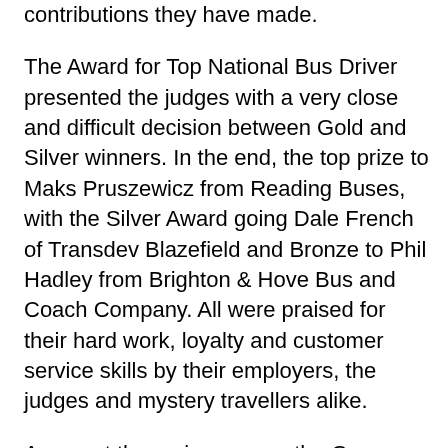contributions they have made.
The Award for Top National Bus Driver presented the judges with a very close and difficult decision between Gold and Silver winners. In the end, the top prize to Maks Pruszewicz from Reading Buses, with the Silver Award going Dale French of Transdev Blazefield and Bronze to Phil Hadley from Brighton & Hove Bus and Coach Company. All were praised for their hard work, loyalty and customer service skills by their employers, the judges and mystery travellers alike.
Amongst the major groups, the Go-Ahead Group took home twelve awards: no fewer than six Golds, plus three silver and three Bronze Awards. In addition to Go South Coast's triple, Stephen King from Go North East took Gold in the new Leadership and Inspiration Award, and the group's London subsidiary was named as one of two Gold winners in the environment category for the electric bus project at London's Waterloo garage.
Arriva scooped ten awards – four gold, three silver and